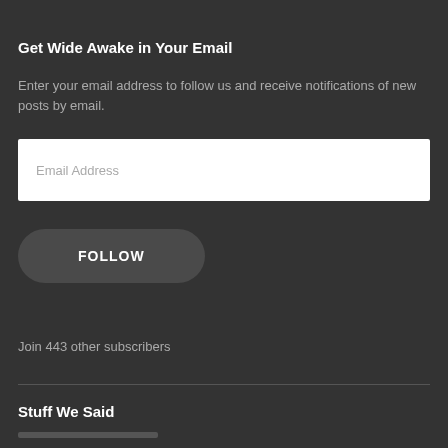Get Wide Awake in Your Email
Enter your email address to follow us and receive notifications of new posts by email.
Email Address
FOLLOW
Join 443 other subscribers
Stuff We Said